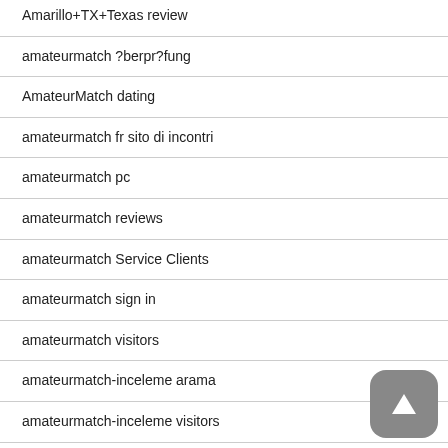Amarillo+TX+Texas review
amateurmatch ?berpr?fung
AmateurMatch dating
amateurmatch fr sito di incontri
amateurmatch pc
amateurmatch reviews
amateurmatch Service Clients
amateurmatch sign in
amateurmatch visitors
amateurmatch-inceleme arama
amateurmatch-inceleme visitors
ameribest payday loans
america-chat-rooms mobile site